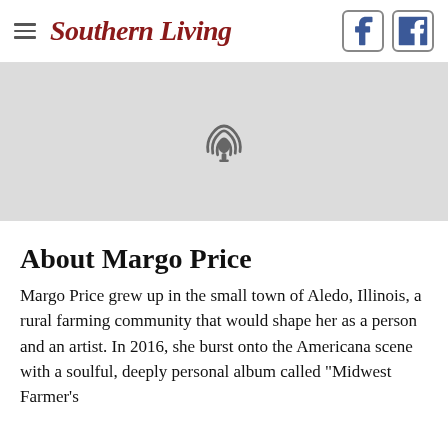Southern Living
[Figure (other): Podcast player placeholder area with a podcast microphone/signal icon on a light gray background]
About Margo Price
Margo Price grew up in the small town of Aledo, Illinois, a rural farming community that would shape her as a person and an artist. In 2016, she burst onto the Americana scene with a soulful, deeply personal album called "Midwest Farmer's